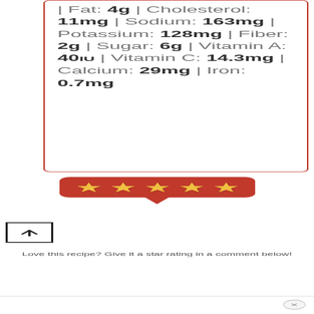| Fat: 4g | Cholesterol: 11mg | Sodium: 163mg | Potassium: 128mg | Fiber: 2g | Sugar: 6g | Vitamin A: 40IU | Vitamin C: 14.3mg | Calcium: 29mg | Iron: 0.7mg
[Figure (infographic): Five gold stars on a red rounded-rectangle speech bubble with a downward-pointing arrow/tail, representing a 5-star rating prompt.]
Love this recipe? Give it a star rating in a comment below!